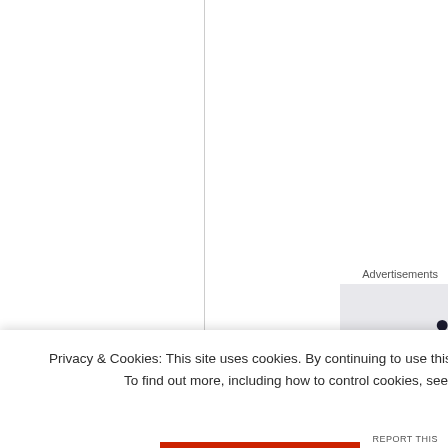Advertisements
Privacy & Cookies: This site uses cookies. By continuing to use this website, you agree to their use. To find out more, including how to control cookies, see here: Cookie Policy
Close and accept